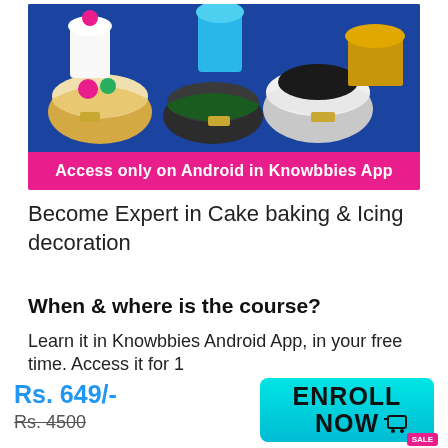[Figure (photo): Photo of multiple decorated cakes on a blue tablecloth — various styles including floral, chocolate, and blue frosted cakes — with a pink banner at the bottom reading 'Access only on Android in Knowbbies App']
Become Expert in Cake baking & Icing decoration
When & where is the course?
Learn it in Knowbbies Android App, in your free time. Access it for 1...
Rs. 649/-
Rs. 4500
[Figure (infographic): Cyan/teal colored 'ENROLL NOW' button with a shopping cart icon and a pink SALE tag]